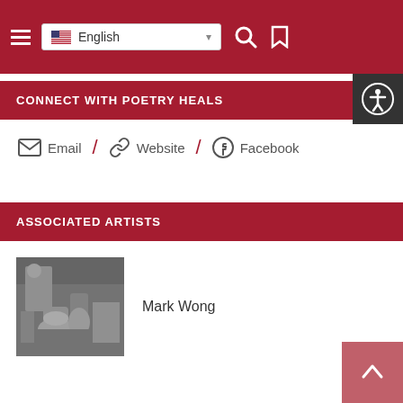[Figure (screenshot): Website navigation bar with hamburger menu, English language selector dropdown with US flag, search icon, and bookmark icon on dark red background]
CONNECT WITH POETRY HEALS
Email / Website / Facebook
ASSOCIATED ARTISTS
[Figure (photo): Black and white photo of a person working with pottery or ceramics on a wheel]
Mark Wong